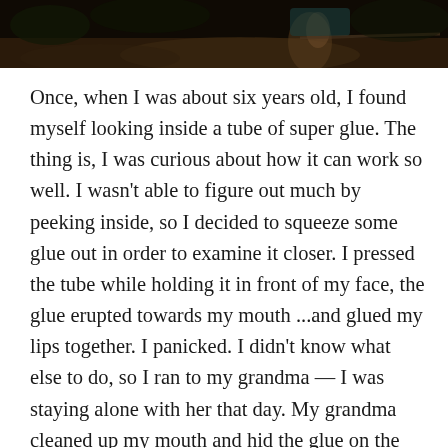[Figure (photo): Dark photograph showing a hand or figure against a shadowy outdoor background, visible as a dark strip at the top of the page.]
Once, when I was about six years old, I found myself looking inside a tube of super glue. The thing is, I was curious about how it can work so well. I wasn't able to figure out much by peeking inside, so I decided to squeeze some glue out in order to examine it closer. I pressed the tube while holding it in front of my face, the glue erupted towards my mouth ...and glued my lips together. I panicked. I didn't know what else to do, so I ran to my grandma — I was staying alone with her that day. My grandma cleaned up my mouth and hid the glue on the very top shelf of the tall wardrobe. This is not the end of the story. Neither the incident nor the present location of the glue was enough to stop my curiosity. After I waited for some time and made sure that grandma was busy in the kitchen, cooking